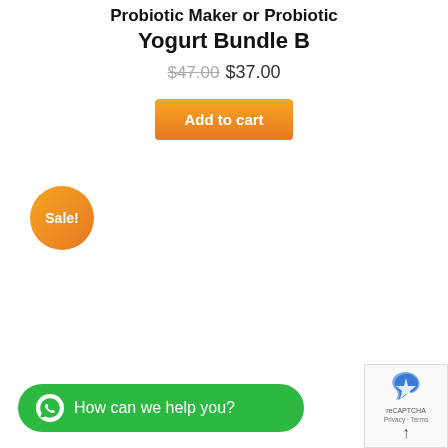Yogurt Bundle B
$47.00 $37.00
Add to cart
Sale!
How can we help you?